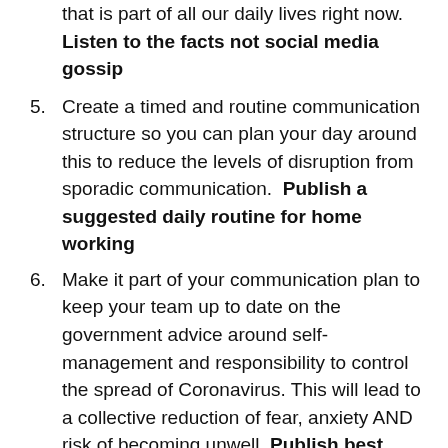that is part of all our daily lives right now. Listen to the facts not social media gossip
5. Create a timed and routine communication structure so you can plan your day around this to reduce the levels of disruption from sporadic communication.  Publish a suggested daily routine for home working
6. Make it part of your communication plan to keep your team up to date on the government advice around self-management and responsibility to control the spread of Coronavirus. This will lead to a collective reduction of fear, anxiety AND risk of becoming unwell. Publish best practice advice from the government that is relevant